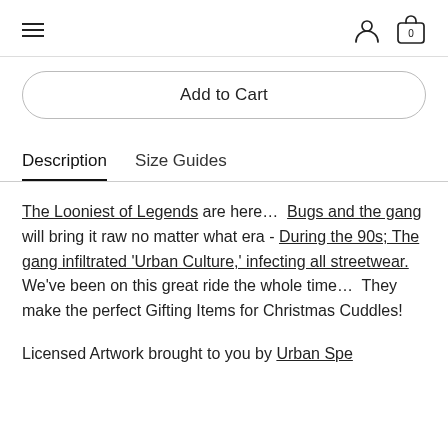≡  (user icon)  (bag icon) 0
Add to Cart
Description   Size Guides
The Looniest of Legends are here…  Bugs and the gang will bring it raw no matter what era - During the 90s; The gang infiltrated 'Urban Culture,' infecting all streetwear. We've been on this great ride the whole time…  They make the perfect Gifting Items for Christmas Cuddles!
Licensed Artwork brought to you by Urban Species. Printed right here in the U.K.